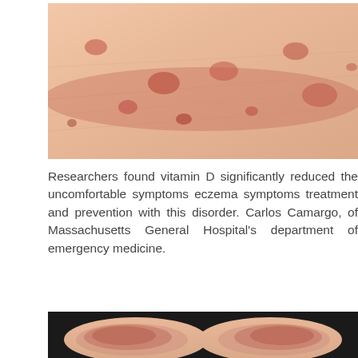[Figure (photo): Close-up photograph of skin showing reddish eczema rash with raised bumps and inflammation on light skin tone]
Researchers found vitamin D significantly reduced the uncomfortable symptoms eczema symptoms treatment and prevention with this disorder. Carlos Camargo, of Massachusetts General Hospital's department of emergency medicine.
[Figure (photo): Photograph showing the backs of two knees/elbows with reddish eczema rash visible, wearing dark clothing]